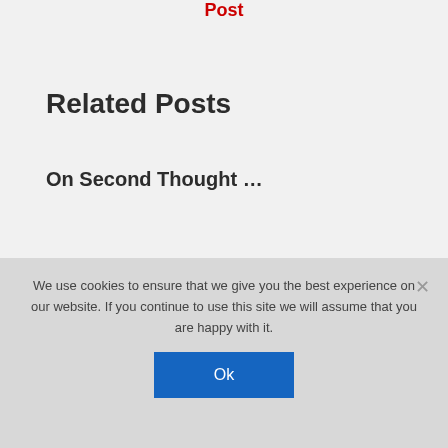Post
Related Posts
On Second Thought …
But I'm HUGE in Sweden
We use cookies to ensure that we give you the best experience on our website. If you continue to use this site we will assume that you are happy with it.